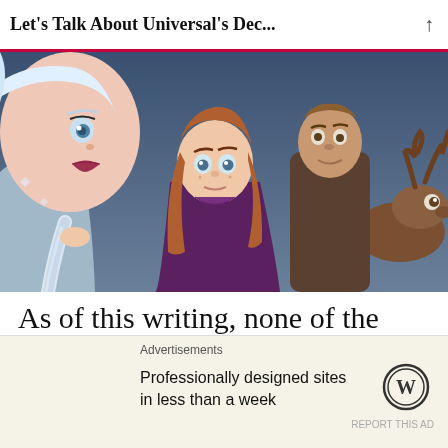Let's Talk About Universal's Dec...
[Figure (photo): Screenshot from Frozen 2 animated film showing characters Elsa (left, blonde braided hair, blue dress), Anna (center, auburn hair, purple coat), Kristoff (background, brown hair), and Sven the reindeer (far right) against a dark blue sky background.]
As of this writing, none of the other studios have followed suit. They
Advertisements
Professionally designed sites in less than a week